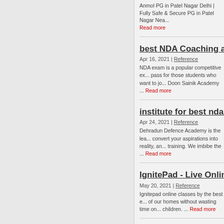Anmol PG in Patel Nagar Delhi | Fully Safe & Secure PG in Patel Nagar Nea... Read more
best NDA Coaching afte
Apr 16, 2021 | Reference
NDA exam is a popular competitive ex... pass for those students who want to jo... Doon Sainik Academy ... Read more
institute for best nda co
Apr 24, 2021 | Reference
Dehradun Defence Academy is the lea... convert your aspirations into reality, an... training. We imbibe the ... Read more
IgnitePad - Live Online
May 20, 2021 | Reference
Ignitepad online classes by the best e... of our homes without wasting time on... children. ... Read more
Deal domain broker im
May 20, 2021 | Reference
All Websites have domain names and example this website's domain name ...